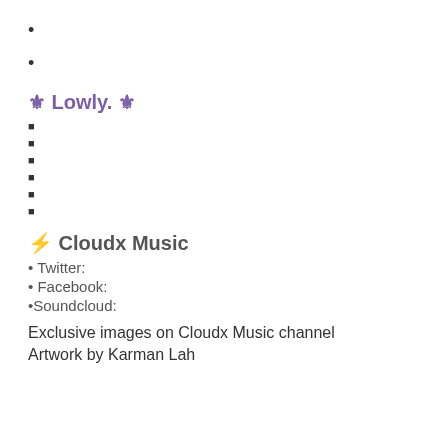•
•
⚜ Lowly. ⚜
■
■
■
■
■
■
⚡ Cloudx Music
• Twitter:
• Facebook:
•Soundcloud:
Exclusive images on Cloudx Music channel
Artwork by Karman Lah